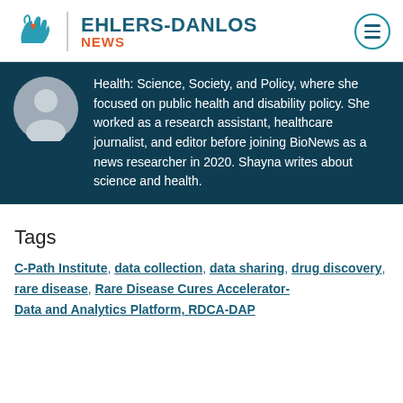EHLERS-DANLOS NEWS
Health: Science, Society, and Policy, where she focused on public health and disability policy. She worked as a research assistant, healthcare journalist, and editor before joining BioNews as a news researcher in 2020. Shayna writes about science and health.
Tags
C-Path Institute, data collection, data sharing, drug discovery, rare disease, Rare Disease Cures Accelerator-Data and Analytics Platform, RDCA-DAP